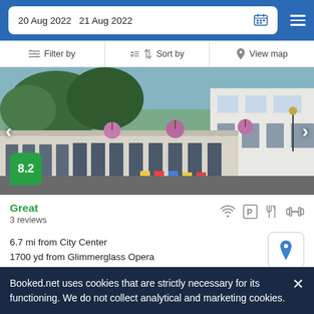20 Aug 2022   21 Aug 2022
Filter by   Sort by   View map
[Figure (photo): Hotel motel building exterior with colorful chairs, hanging flower baskets, white siding, multiple room doors, and trees in background]
8.2
Great
3 reviews
6.7 mi from City Center
1700 yd from Glimmerglass Opera
The hotel is located in the beach area of Cooperstown, not far away from Glimmerglass State Park, overlooking the…
Booked.net uses cookies that are strictly necessary for its functioning. We do not collect analytical and marketing cookies.